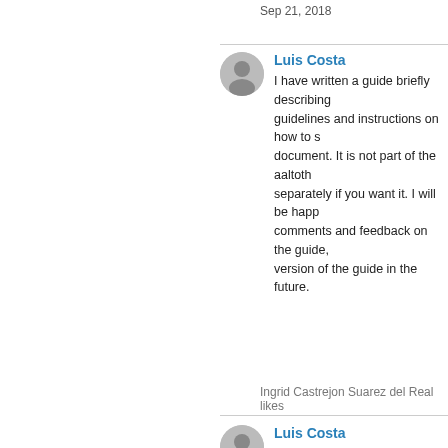Sep 21, 2018
Luis Costa
I have written a guide briefly describing guidelines and instructions on how to s... document. It is not part of the aaltoth... separately if you want it. I will be happ... comments and feedback on the guide, version of the guide in the future.
Ingrid Castrejon Suarez del Real likes
Luis Costa
This comment is for those of you using has been updated to v2, you no longe... working directory, neither do you have described in my earlier Overleaf comm... aaltologo.sty and your thesis LaTeX fi... opinnay tepohja.tex or whatever, alon... to go.
Nov 22, 2018
Ingrid Castrejon Suarez del Real
It is possible to add the references in...